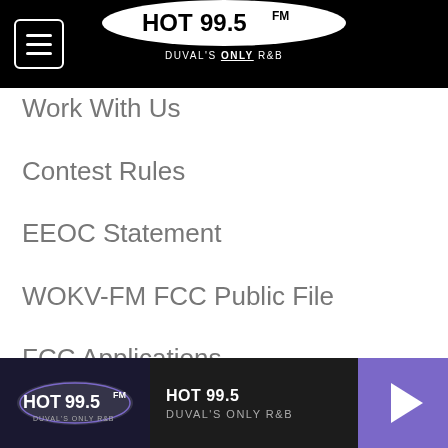[Figure (logo): HOT 99.5 FM radio station logo — white oval with HOT 99.5 FM text and tagline DUVAL'S ONLY R&B on black navigation bar]
Work With Us
Contest Rules
EEOC Statement
WOKV-FM FCC Public File
FCC Applications
Advertising
Advertise With Us
Help
Advertise Help (partial)
[Figure (logo): HOT 99.5 radio player bar at bottom with station logo, station name HOT 99.5, tagline DUVAL'S ONLY R&B, and purple play button]